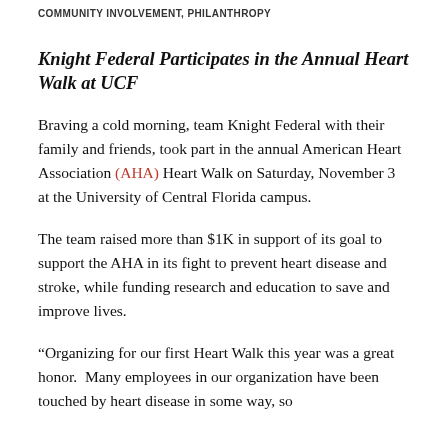COMMUNITY INVOLVEMENT, PHILANTHROPY
Knight Federal Participates in the Annual Heart Walk at UCF
Braving a cold morning, team Knight Federal with their family and friends, took part in the annual American Heart Association (AHA) Heart Walk on Saturday, November 3 at the University of Central Florida campus.
The team raised more than $1K in support of its goal to support the AHA in its fight to prevent heart disease and stroke, while funding research and education to save and improve lives.
“Organizing for our first Heart Walk this year was a great honor.  Many employees in our organization have been touched by heart disease in some way, so